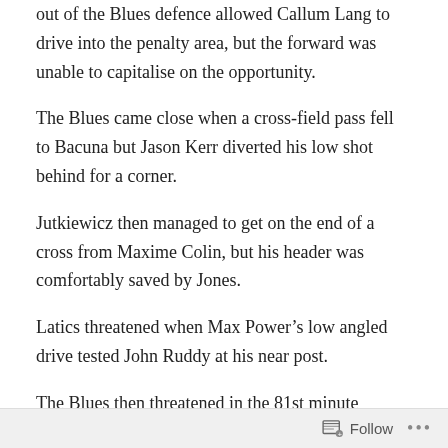out of the Blues defence allowed Callum Lang to drive into the penalty area, but the forward was unable to capitalise on the opportunity.
The Blues came close when a cross-field pass fell to Bacuna but Jason Kerr diverted his low shot behind for a corner.
Jutkiewicz then managed to get on the end of a cross from Maxime Colin, but his header was comfortably saved by Jones.
Latics threatened when Max Power’s low angled drive tested John Ruddy at his near post.
The Blues then threatened in the 81st minute through former Latics striker Sam Cosgrove, but Jones saved
Follow